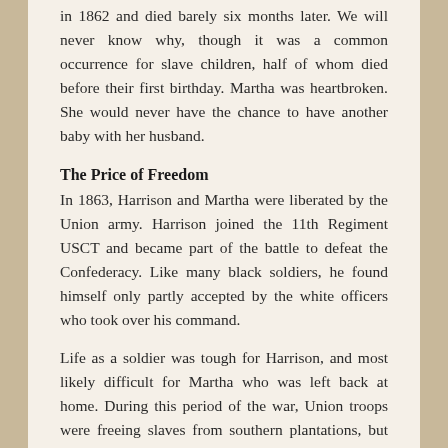in 1862 and died barely six months later. We will never know why, though it was a common occurrence for slave children, half of whom died before their first birthday. Martha was heartbroken. She would never have the chance to have another baby with her husband.
The Price of Freedom
In 1863, Harrison and Martha were liberated by the Union army. Harrison joined the 11th Regiment USCT and became part of the battle to defeat the Confederacy. Like many black soldiers, he found himself only partly accepted by the white officers who took over his command.
Life as a soldier was tough for Harrison, and most likely difficult for Martha who was left back at home. During this period of the war, Union troops were freeing slaves from southern plantations, but many were soon brought back to work in similar conditions for the military – free, but only just. Their work,